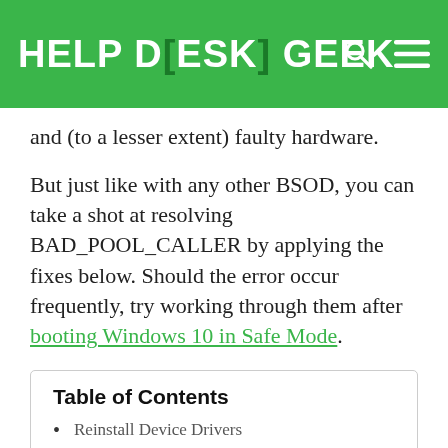HELP DESK GEEK
and (to a lesser extent) faulty hardware.
But just like with any other BSOD, you can take a shot at resolving BAD_POOL_CALLER by applying the fixes below. Should the error occur frequently, try working through them after booting Windows 10 in Safe Mode.
Table of Contents
Reinstall Device Drivers
Update Device Drivers
Roll Back Drivers
Update the Operating System
Uninstall Windows Updates
Run the System File Checker